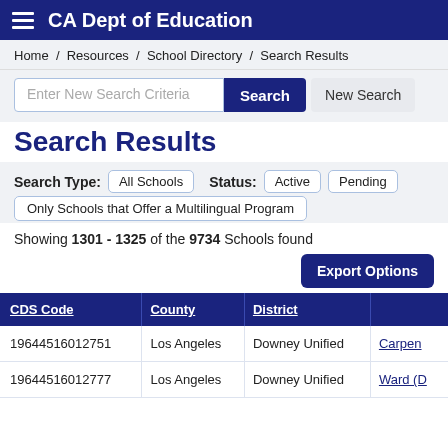CA Dept of Education
Home / Resources / School Directory / Search Results
Enter New Search Criteria  Search  New Search
Search Results
Search Type: All Schools  Status: Active  Pending
Only Schools that Offer a Multilingual Program
Showing 1301 - 1325 of the 9734 Schools found
| CDS Code | County | District |  |
| --- | --- | --- | --- |
| 19644516012751 | Los Angeles | Downey Unified | Carpen... |
| 19644516012777 | Los Angeles | Downey Unified | Ward (D... |